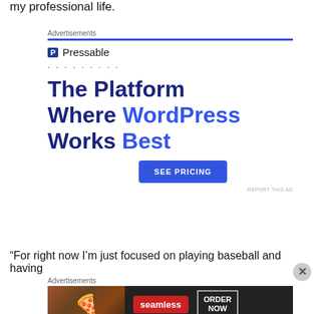my professional life.
[Figure (infographic): Pressable WordPress hosting advertisement. Logo with blue P icon and Pressable name, dotted separator, large headline 'The Platform Where WordPress Works Best' in dark navy and blue, with a 'SEE PRICING' blue button.]
“For right now I’m just focused on playing baseball and having
[Figure (infographic): Seamless food delivery advertisement showing pizza image on left, red Seamless logo in center, and 'ORDER NOW' button in white outlined box on dark background.]